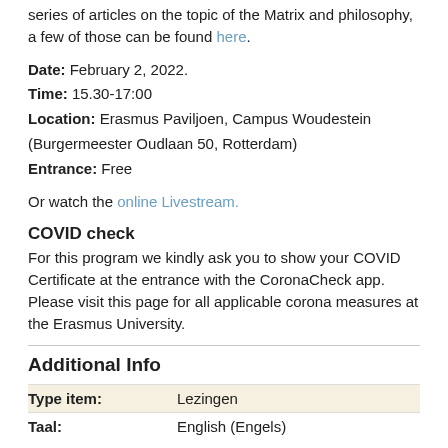series of articles on the topic of the Matrix and philosophy, a few of those can be found here.
Date: February 2, 2022.
Time: 15.30-17:00
Location: Erasmus Paviljoen, Campus Woudestein (Burgermeester Oudlaan 50, Rotterdam)
Entrance: Free
Or watch the online Livestream.
COVID check
For this program we kindly ask you to show your COVID Certificate at the entrance with the CoronaCheck app. Please visit this page for all applicable corona measures at the Erasmus University.
Additional Info
|  |  |
| --- | --- |
| Type item: | Lezingen |
| Taal: | English (Engels) |